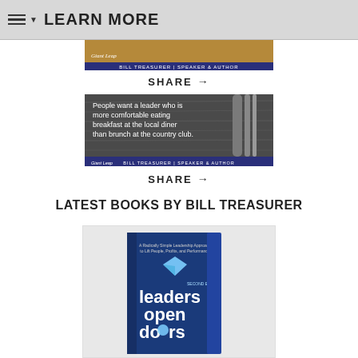LEARN MORE
[Figure (other): Quote card image 1 from Giant Leap – Bill Treasurer Speaker & Author, top portion visible]
SHARE →
[Figure (other): Quote card image 2 from Giant Leap – Bill Treasurer Speaker & Author, with quote: People want a leader who is more comfortable eating breakfast at the local diner than brunch at the country club.]
SHARE →
LATEST BOOKS BY BILL TREASURER
[Figure (photo): Book cover: Leaders Open Doors by Bill Treasurer, Second Edition, blue cover with diamond shape]